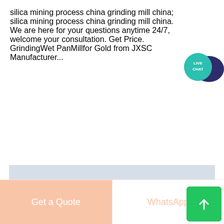silica mining process china grinding mill china; silica mining process china grinding mill china. We are here for your questions anytime 24/7, welcome your consultation. Get Price. GrindingWet PanMillfor Gold from JXSC Manufacturer...
[Figure (photo): Industrial mining facility showing large symmetric overhead crane/conveyor structures and processing towers in a hazy, mist-filled environment]
Get a Quote
WhatsApp